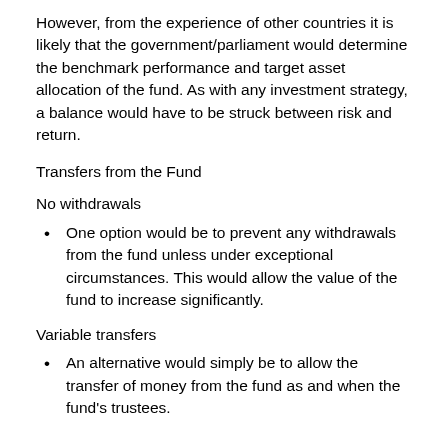However, from the experience of other countries it is likely that the government/parliament would determine the benchmark performance and target asset allocation of the fund. As with any investment strategy, a balance would have to be struck between risk and return.
Transfers from the Fund
No withdrawals
One option would be to prevent any withdrawals from the fund unless under exceptional circumstances. This would allow the value of the fund to increase significantly.
Variable transfers
An alternative would simply be to allow the transfer of money from the fund as and when the fund's trustees.